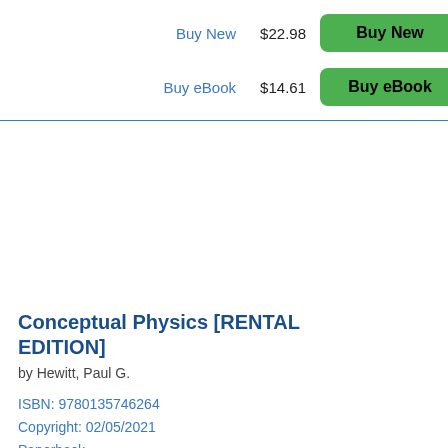Buy New    $22.98    Buy New
Buy eBook    $14.61    Buy eBook
Conceptual Physics [RENTAL EDITION]
by Hewitt, Paul G.
ISBN: 9780135746264
Copyright: 02/05/2021
Paperback